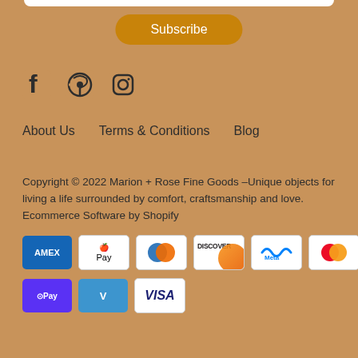Subscribe
[Figure (illustration): Social media icons: Facebook, Pinterest, Instagram]
About Us    Terms & Conditions    Blog
Copyright © 2022 Marion + Rose Fine Goods –Unique objects for living a life surrounded by comfort, craftsmanship and love.
Ecommerce Software by Shopify
[Figure (illustration): Payment method icons: AMEX, Apple Pay, Diners Club, Discover, Meta Pay, Mastercard, PayPal, Shop Pay, Venmo, Visa]